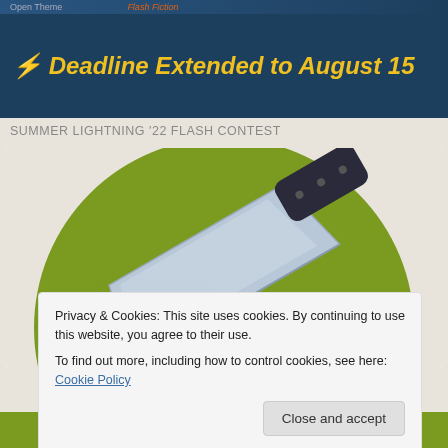[Figure (illustration): Website banner with dark blue background showing 'Deadline Extended to August 15' in bold yellow italic text with lightning bolt icon, and orange/red text partially visible at top.]
SUMMER LIGHTNING '22 FLASH CONTEST
[Figure (illustration): Image of a meat cleaver knife on a green circle background. Partial large text visible at bottom of circle. White card background.]
Privacy & Cookies: This site uses cookies. By continuing to use this website, you agree to their use.
To find out more, including how to control cookies, see here: Cookie Policy
Close and accept